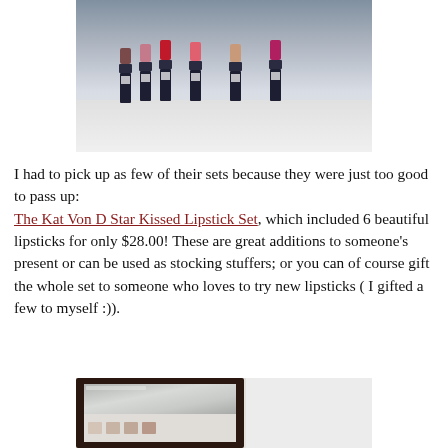[Figure (photo): Row of Kat Von D lipsticks in various colors (brown, pink, red, coral, nude, magenta) with black caps and white labels, arranged on a white fluffy surface against a light background.]
I had to pick up as few of their sets because they were just too good to pass up: The Kat Von D Star Kissed Lipstick Set, which included 6 beautiful lipsticks for only $28.00! These are great additions to someone's present or can be used as stocking stuffers; or you can of course gift the whole set to someone who loves to try new lipsticks ( I gifted a few to myself :)).
[Figure (photo): Close-up of a makeup palette with a dark brown leather-like frame, a mirror on the upper half, and eyeshadow swatches in light nude/pink tones on the lower half, resting on a white fluffy surface.]